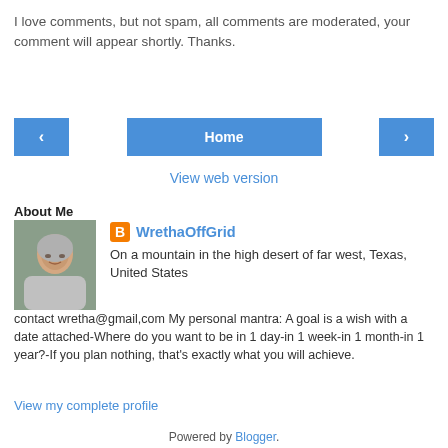I love comments, but not spam, all comments are moderated, your comment will appear shortly. Thanks.
[Figure (other): Navigation buttons: left arrow, Home button, right arrow]
View web version
About Me
[Figure (photo): Profile photo of WrethaOffGrid, a woman with gray hair and glasses]
WrethaOffGrid
On a mountain in the high desert of far west, Texas, United States
contact wretha@gmail,com My personal mantra: A goal is a wish with a date attached-Where do you want to be in 1 day-in 1 week-in 1 month-in 1 year?-If you plan nothing, that's exactly what you will achieve.
View my complete profile
Powered by Blogger.